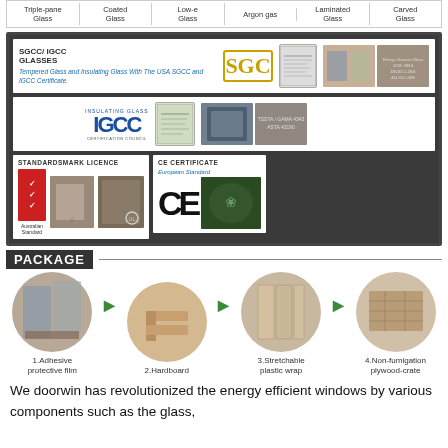[Figure (infographic): Top bar showing 6 glass product types: Triple-pane Glass, Coated Glass, Low-e Glass, Argon gas, Laminated Glass, Carved Glass]
[Figure (infographic): SGCC/IGCC Glasses certification section with logos, certificates and product photos. Text: Tempered Glass and Insulating Glass With The USA SGCC and IGCC Certificate.]
[Figure (infographic): Standardsmark Licence section with Australian Standard red certificate logo and glass product photos]
[Figure (infographic): CE Certificate - European Standard section with CE logo and glass product photo]
PACKAGE
[Figure (infographic): Package process showing 4 steps: 1.Adhesive protective film (circle with window photo), arrow, 2.Hardboard (circle with corner piece photo), arrow, 3.Stretchable plastic wrap (circle with wrapped panes photo), arrow, 4.Non-fumigation plywood-crate (circle with crate photo)]
We doorwin has revolutionized the energy efficient windows by various components such as the glass,